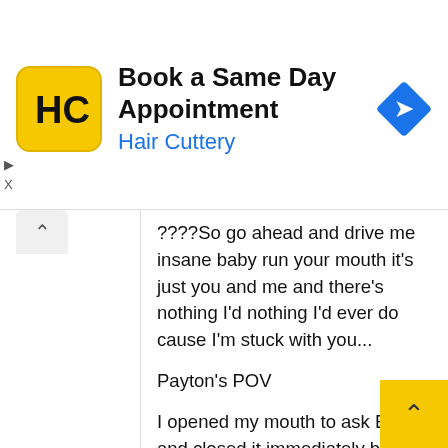[Figure (screenshot): Hair Cuttery advertisement banner with yellow square logo showing 'HC' text, title 'Book a Same Day Appointment', subtitle 'Hair Cuttery' in blue, and a blue diamond navigation icon on the right.]
????So go ahead and drive me insane baby run your mouth it's just you and me and there's nothing I'd nothing I'd ever do cause I'm stuck with you...
Payton's POV
I opened my mouth to ask Brody and closed it immediately but when i couldn't bear it anymore i opened my mouth...
'Brody can i ask you a question??'..i finally said..
'What??'..he asked irritably and i paused for a while b replying...
'I want to know why you hate me??'..